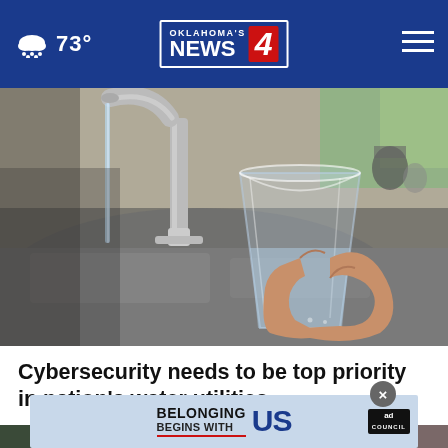73° | Oklahoma's News 4
[Figure (photo): A hand holding a clear glass being filled with water from a kitchen faucet over a stainless steel sink]
Cybersecurity needs to be top priority in nation's water utilities
[Figure (photo): Partial view of a second news story photo showing people, with an ad overlay reading 'BELONGING BEGINS WITH US' with Ad Council branding]